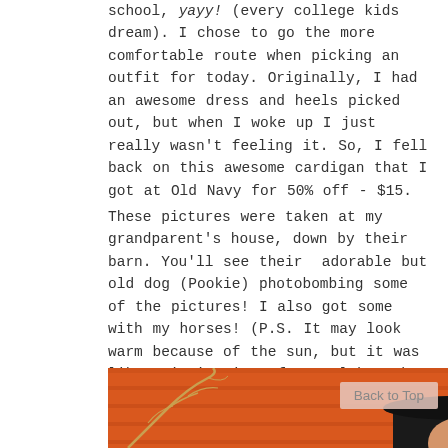school, yayy! (every college kids dream). I chose to go the more comfortable route when picking an outfit for today. Originally, I had an awesome dress and heels picked out, but when I woke up I just really wasn't feeling it. So, I fell back on this awesome cardigan that I got at Old Navy for 50% off - $15.
These pictures were taken at my grandparent's house, down by their barn. You'll see their adorable but old dog (Pookie) photobombing some of the pictures! I also got some with my horses! (P.S. It may look warm because of the sun, but it was like swimming in a frozen lake. The wind was crazy.)
[Figure (photo): Photo of person near a barn with orange wooden wall background and bare tree branches visible. A dark hat shape visible at bottom.]